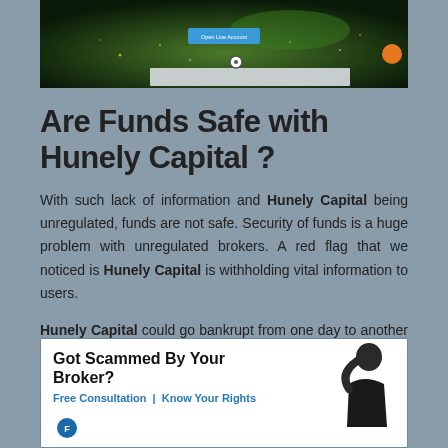[Figure (screenshot): Screenshot of a financial broker website with aerial city view, Open Live Account button, navigation elements, and an orange chat circle.]
Are Funds Safe with Hunely Capital ?
With such lack of information and Hunely Capital being unregulated, funds are not safe. Security of funds is a huge problem with unregulated brokers. A red flag that we noticed is Hunely Capital is withholding vital information to users.
Hunely Capital could go bankrupt from one day to another since there are no banking information about this broker.
[Figure (infographic): Advertisement banner: Got Scammed By Your Broker? Free Consultation | Know Your Rights. Shows a distressed person silhouette.]